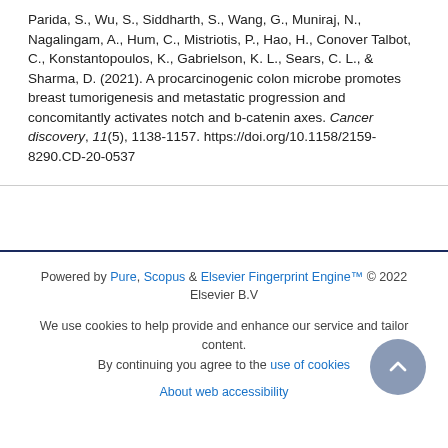Parida, S., Wu, S., Siddharth, S., Wang, G., Muniraj, N., Nagalingam, A., Hum, C., Mistriotis, P., Hao, H., Conover Talbot, C., Konstantopoulos, K., Gabrielson, K. L., Sears, C. L., & Sharma, D. (2021). A procarcinogenic colon microbe promotes breast tumorigenesis and metastatic progression and concomitantly activates notch and b-catenin axes. Cancer discovery, 11(5), 1138-1157. https://doi.org/10.1158/2159-8290.CD-20-0537
Powered by Pure, Scopus & Elsevier Fingerprint Engine™ © 2022 Elsevier B.V
We use cookies to help provide and enhance our service and tailor content. By continuing you agree to the use of cookies
About web accessibility